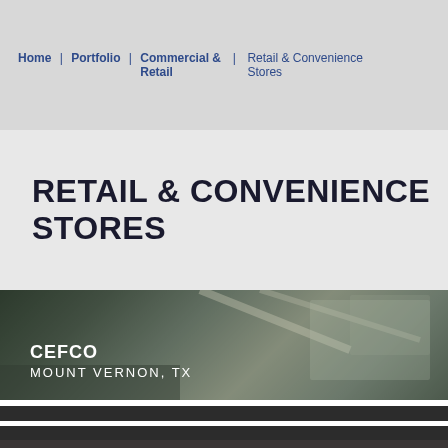Home | Portfolio | Commercial & Retail | Retail & Convenience Stores
RETAIL & CONVENIENCE STORES
[Figure (photo): Exterior photo of CEFCO convenience store in Mount Vernon, TX with text overlay showing store name and location]
CEFCO — MOUNT VERNON, TX
[Figure (photo): Dark thumbnail strip of another retail/convenience store location]
[Figure (photo): Dark thumbnail strip of another retail/convenience store location]